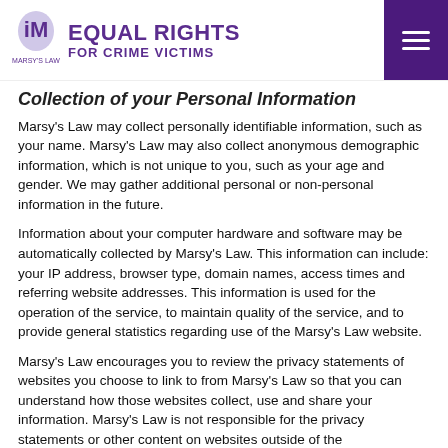[Figure (logo): Equal Rights For Crime Victims logo with Marsy's Law icon]
Collection of your Personal Information
Marsy's Law may collect personally identifiable information, such as your name. Marsy's Law may also collect anonymous demographic information, which is not unique to you, such as your age and gender. We may gather additional personal or non-personal information in the future.
Information about your computer hardware and software may be automatically collected by Marsy's Law. This information can include: your IP address, browser type, domain names, access times and referring website addresses. This information is used for the operation of the service, to maintain quality of the service, and to provide general statistics regarding use of the Marsy's Law website.
Marsy's Law encourages you to review the privacy statements of websites you choose to link to from Marsy's Law so that you can understand how those websites collect, use and share your information. Marsy's Law is not responsible for the privacy statements or other content on websites outside of the